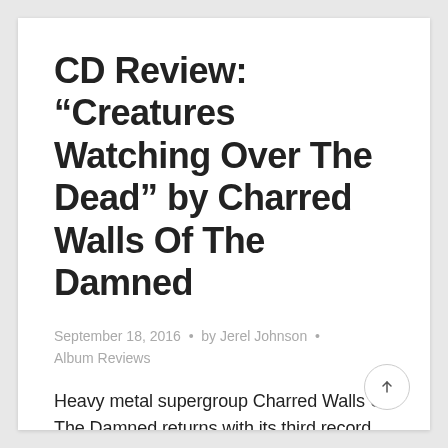CD Review: “Creatures Watching Over The Dead” by Charred Walls Of The Damned
September 18, 2016 · by Jerel Johnson · Album Reviews
Heavy metal supergroup Charred Walls Of The Damned returns with its third record, Creatures Watching Over The Dead. Creatures is the band's first record in five years, which is understandable considering the busy schedule of its members. Bassis …